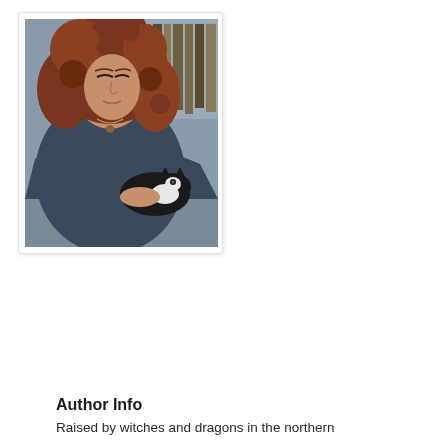[Figure (photo): A woman with curly reddish-brown hair wearing a dark blue tank top, looking down. She is holding or near a black and white cat. A bookshelf is visible in the background.]
Author Info
Raised by witches and dragons in the northern